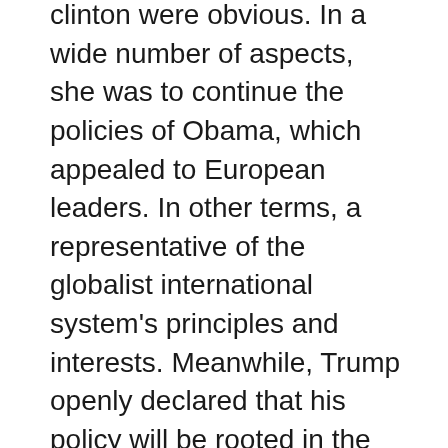clinton were obvious. In a wide number of aspects, she was to continue the policies of Obama, which appealed to European leaders. In other terms, a representative of the globalist international system's principles and interests. Meanwhile, Trump openly declared that his policy will be rooted in the nationalist principle of America first and at the same time was fully willing to criticise various international organisations, starting with trade agreements such as NAFTA and TTIP, ending with intergovernmental organisations such as NATO and the UN.
Raising US national interests above global interests, Trump criticised all the organisations and saw participation in them as detrimental to the USA. He was no longer content with the situation on the basis of the Gold War, when US